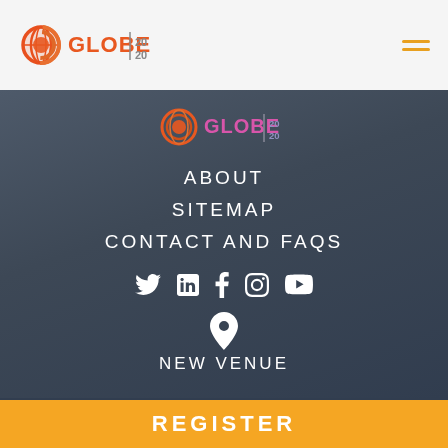GLOBE 2020 - logo and hamburger menu
[Figure (logo): GLOBE 2020 logo in dark navigation overlay with menu links: ABOUT, SITEMAP, CONTACT AND FAQS, social media icons (Twitter, LinkedIn, Facebook, Instagram, YouTube), location pin icon, NEW VENUE text]
ABOUT
SITEMAP
CONTACT AND FAQS
NEW VENUE
REGISTER